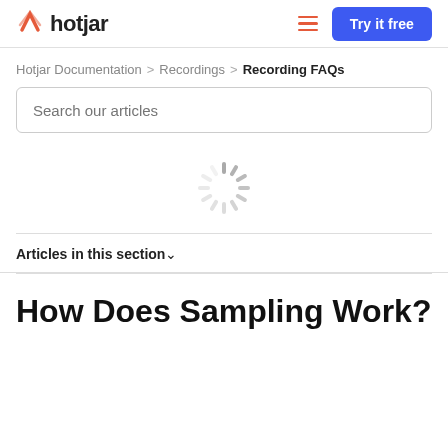hotjar | Try it free
Hotjar Documentation > Recordings > Recording FAQs
Search our articles
[Figure (other): Loading spinner animation]
Articles in this section
How Does Sampling Work?